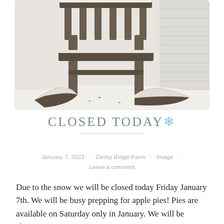[Figure (photo): Close-up black and white photograph of a wooden rocking chair covered in snow on a porch, with snow-covered ground visible and siding of a house in the background.]
CLOSED TODAY❄
January 7, 2022 · Derby Ridge Farm · Image · Leave a comment
Due to the snow we will be closed today Friday January 7th. We will be busy prepping for apple pies! Pies are available on Saturday only in January. We will be clearing